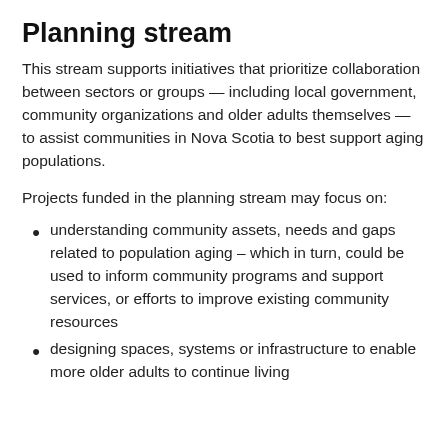Planning stream
This stream supports initiatives that prioritize collaboration between sectors or groups — including local government, community organizations and older adults themselves — to assist communities in Nova Scotia to best support aging populations.
Projects funded in the planning stream may focus on:
understanding community assets, needs and gaps related to population aging – which in turn, could be used to inform community programs and support services, or efforts to improve existing community resources
designing spaces, systems or infrastructure to enable more older adults to continue living